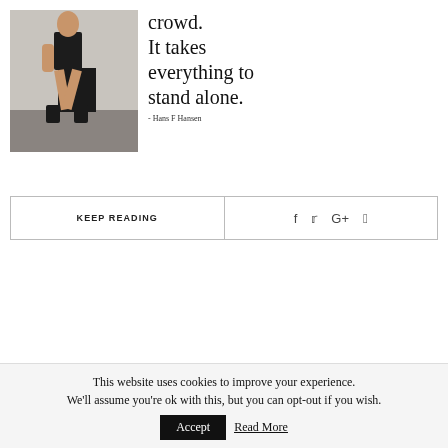[Figure (photo): Woman in black outfit and black boots sitting on a dark box against a light grey wall]
crowd.
It takes everything to stand alone.
- Hans F Hansen
KEEP READING
f  ✦  G+  p
This website uses cookies to improve your experience. We'll assume you're ok with this, but you can opt-out if you wish.
Accept
Read More